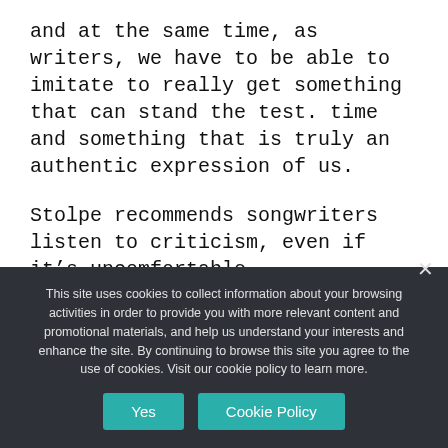and at the same time, as writers, we have to be able to imitate to really get something that can stand the test. time and something that is truly an authentic expression of us.
Stolpe recommends songwriters listen to criticism, even if it's uncomfortable.
“See if you can handle and use those harsh, sometimes very, very honest comments,” Stolpe said. “Because that will be the test of
This site uses cookies to collect information about your browsing activities in order to provide you with more relevant content and promotional materials, and help us understand your interests and enhance the site. By continuing to browse this site you agree to the use of cookies. Visit our cookie policy to learn more.